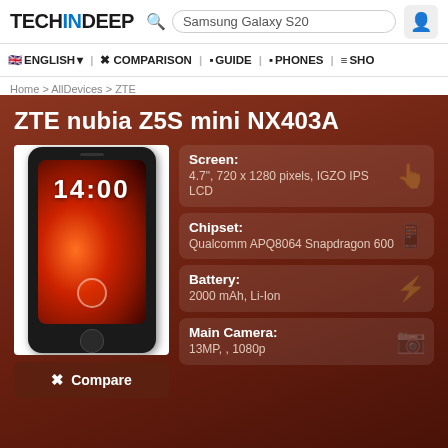TECHINDEEP | Search: Samsung Galaxy S20
ENGLISH | COMPARISON | GUIDE | PHONES | SHO
Home > AllDevices > ZTE
ZTE nubia Z5S mini NX403A
Screen: 4.7", 720 x 1280 pixels, IGZO IPS LCD
Chipset: Qualcomm APQ8064 Snapdragon 600
Battery: 2000 mAh, Li-Ion
Main Camera: 13MP, , 1080p
Compare